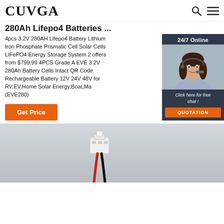CUVGA
280Ah Lifepo4 Batteries ...
4pcs 3.2V 280AH Lifepo4 Battery Lithium Iron Phosphate Prismatic Cell Solar Cells LiFePO4 Energy Storage System 2 offers from $799.99 4PCS Grade A EVE 3.2V 280Ah Battery Cells Intact QR Code Rechargeable Battery 12V 24V 48V for RV,EV,Home Solar Energy,Boat,Ma (EVE280)
[Figure (screenshot): Orange 'Get Price' button]
[Figure (photo): 24/7 Online chat widget with customer service representative photo, 'Click here for free chat!' text, and orange QUOTATION button]
[Figure (photo): Product photo showing a white wire connector with red and black cables on a gray background]